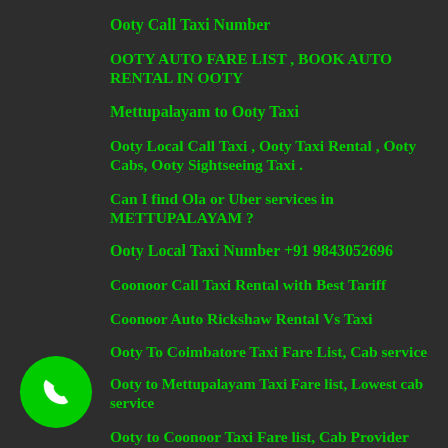Ooty Call Taxi Number
OOTY AUTO FARE LIST , BOOK AUTO RENTAL IN OOTY
Mettupalayam to Ooty Taxi
Ooty Local Call Taxi , Ooty Taxi Rental , Ooty Cabs, Ooty Sightseeing Taxi .
Can I find Ola or Uber services in METTUPALAYAM ?
Ooty Local Taxi Number +91 9843052696
Coonoor Call Taxi Rental with Best Tariff
Coonoor Auto Rickshaw Rental Vs Taxi
Ooty To Coimbatore Taxi Fare List, Cab service
Ooty to Mettupalayam Taxi Fare list, Lowest cab service
Ooty to Coonoor Taxi Fare list, Cab Provider
r Taxi Rental
[Figure (illustration): Green circular phone call button with white telephone handset icon, positioned at bottom left]